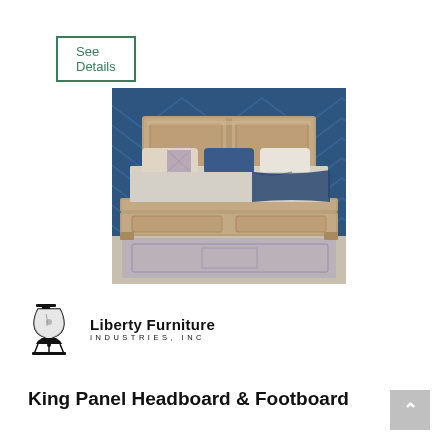See Details
[Figure (photo): King panel bed with wooden headboard and footboard in a tan/natural finish, displayed against a deep blue chevron-patterned wall with blue and white bedding and a patterned area rug]
[Figure (logo): Liberty Furniture Industries, Inc. logo with Liberty Bell icon]
King Panel Headboard & Footboard